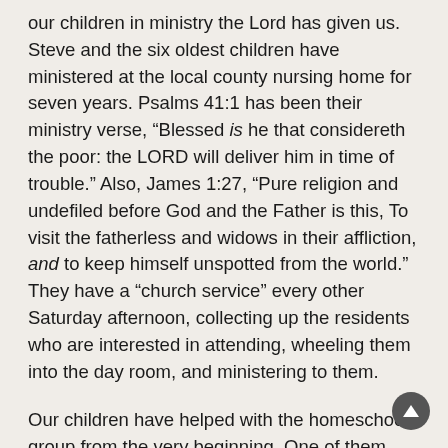our children in ministry the Lord has given us. Steve and the six oldest children have ministered at the local county nursing home for seven years. Psalms 41:1 has been their ministry verse, “Blessed is he that considereth the poor: the LORD will deliver him in time of trouble.” Also, James 1:27, “Pure religion and undefiled before God and the Father is this, To visit the fatherless and widows in their affliction, and to keep himself unspotted from the world.” They have a “church service” every other Saturday afternoon, collecting up the residents who are interested in attending, wheeling them into the day room, and ministering to them.
Our children have helped with the homeschool group from the very beginning. One of them has always had the responsibility for the newsletter. They spend many hours preparing for the children’s programs that go along with the couples’ meetings. They also put on the spelling bee each year. Their hearts are being fed on the joy Jesus gives in serving Him and others, rather than self.